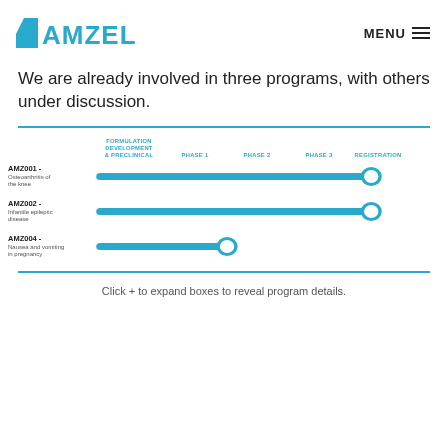AMZELL | MENU
We are already involved in three programs, with others under discussion.
[Figure (infographic): Clinical pipeline table showing three drug programs (AMZ001 - Osteoarthritis of the knee at Phase 3; AMZ002 - Infantile epileptic disease at Phase 3; AMZ004 - Nausea and vomiting in pregnancy at Phase 1) with horizontal progress bars across columns: Formulation Development & Preclinical, Phase 1, Phase 2, Phase 3, Registration.]
Click + to expand boxes to reveal program details.